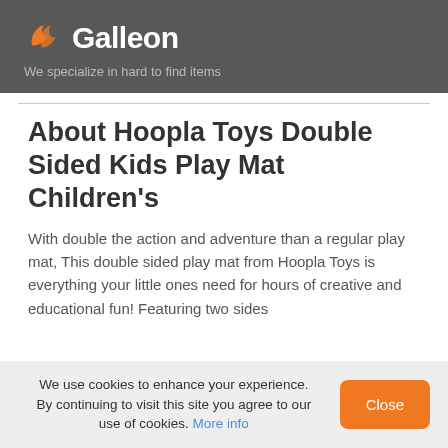Galleon — We specialize in hard to find items
About Hoopla Toys Double Sided Kids Play Mat Children's
With double the action and adventure than a regular play mat, This double sided play mat from Hoopla Toys is everything your little ones need for hours of creative and educational fun! Featuring two sides
We use cookies to enhance your experience. By continuing to visit this site you agree to our use of cookies. More info